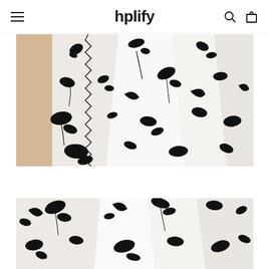hplify — navigation header with menu, search, and cart icons
[Figure (photo): Close-up photograph of white fabric with bold black floral/botanical print pattern, showing folded fabric on wooden hangers. The fabric has a high-contrast black and white flower and leaf motif.]
[Figure (photo): Second close-up photograph of the same white fabric with black floral print, showing a different angle of the fabric folds and the pattern detail.]